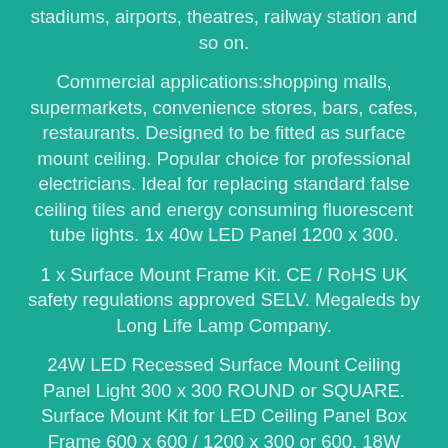stadiums, airports, theatres, railway station and so on.
Commercial applications:shopping malls, supermarkets, convenience stores, bars, cafes, restaurants. Designed to be fitted as surface mount ceiling. Popular choice for professional electricians. Ideal for replacing standard false ceiling tiles and energy consuming fluorescent tube lights. 1x 40w LED Panel 1200 x 300.
1 x Surface Mount Frame Kit. CE / RoHS UK safety regulations approved SELV. Megaleds by Long Life Lamp Company.
24W LED Recessed Surface Mount Ceiling Panel Light 300 x 300 ROUND or SQUARE. Surface Mount Kit for LED Ceiling Panel Box Frame 600 x 600 / 1200 x 300 or 600. 18W LED Round Surface Mount FLUSHLIGHT Ceiling Down Light Cool White 1701A. 4FT LED Batten 36W Micro Wave Sensor Tube Light Movement Sensor Replacement T8. Strictly Lamps has been in the lighting industry for 18 years+.